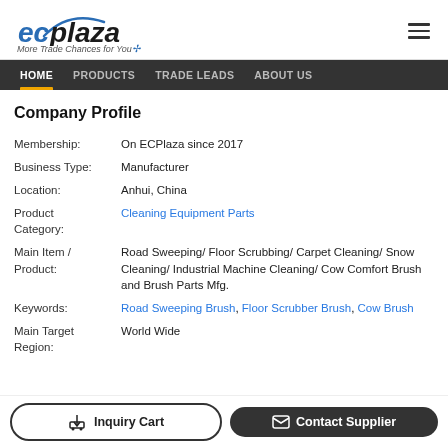ecplaza - More Trade Chances for You
HOME  PRODUCTS  TRADE LEADS  ABOUT US
Company Profile
| Field | Value |
| --- | --- |
| Membership: | On ECPlaza since 2017 |
| Business Type: | Manufacturer |
| Location: | Anhui, China |
| Product Category: | Cleaning Equipment Parts |
| Main Item / Product: | Road Sweeping/ Floor Scrubbing/ Carpet Cleaning/ Snow Cleaning/ Industrial Machine Cleaning/ Cow Comfort Brush and Brush Parts Mfg. |
| Keywords: | Road Sweeping Brush, Floor Scrubber Brush, Cow Brush |
| Main Target Region: | World Wide |
Inquiry Cart   Contact Supplier